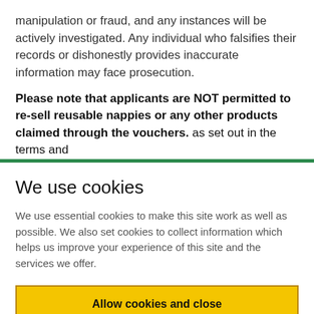manipulation or fraud, and any instances will be actively investigated. Any individual who falsifies their records or dishonestly provides inaccurate information may face prosecution.
Please note that applicants are NOT permitted to re-sell reusable nappies or any other products claimed through the vouchers. as set out in the terms and
We use cookies
We use essential cookies to make this site work as well as possible. We also set cookies to collect information which helps us improve your experience of this site and the services we offer.
Allow cookies and close
Cookie settings